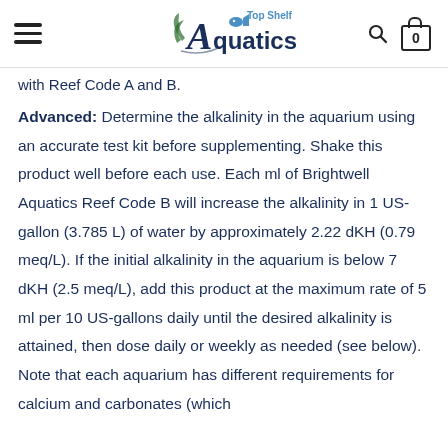Top Shelf Aquatics header with logo, hamburger menu, search, and cart icons
with Reef Code A and B.
Advanced: Determine the alkalinity in the aquarium using an accurate test kit before supplementing. Shake this product well before each use. Each ml of Brightwell Aquatics Reef Code B will increase the alkalinity in 1 US-gallon (3.785 L) of water by approximately 2.22 dKH (0.79 meq/L). If the initial alkalinity in the aquarium is below 7 dKH (2.5 meq/L), add this product at the maximum rate of 5 ml per 10 US-gallons daily until the desired alkalinity is attained, then dose daily or weekly as needed (see below). Note that each aquarium has different requirements for calcium and carbonates (which